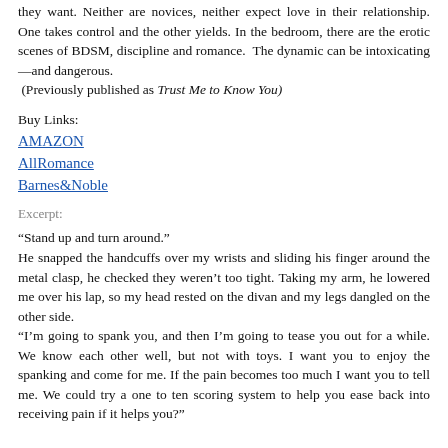they want. Neither are novices, neither expect love in their relationship. One takes control and the other yields. In the bedroom, there are the erotic scenes of BDSM, discipline and romance. The dynamic can be intoxicating—and dangerous.
(Previously published as Trust Me to Know You)
Buy Links:
AMAZON
AllRomance
Barnes&Noble
Excerpt:
“Stand up and turn around.”
He snapped the handcuffs over my wrists and sliding his finger around the metal clasp, he checked they weren’t too tight. Taking my arm, he lowered me over his lap, so my head rested on the divan and my legs dangled on the other side.
“I’m going to spank you, and then I’m going to tease you out for a while. We know each other well, but not with toys. I want you to enjoy the spanking and come for me. If the pain becomes too much I want you to tell me. We could try a one to ten scoring system to help you ease back into receiving pain if it helps you?”